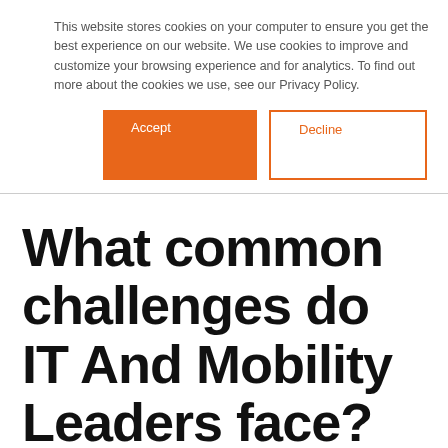This website stores cookies on your computer to ensure you get the best experience on our website. We use cookies to improve and customize your browsing experience and for analytics. To find out more about the cookies we use, see our Privacy Policy.
Accept | Decline
What common challenges do IT And Mobility Leaders face?